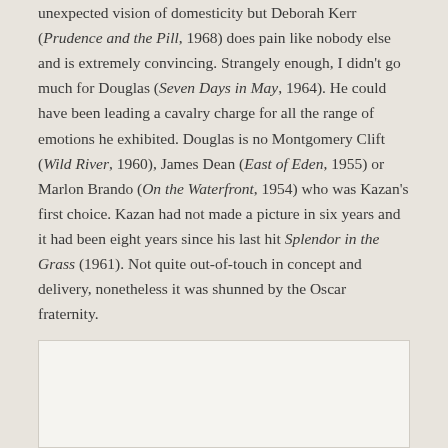unexpected vision of domesticity but Deborah Kerr (Prudence and the Pill, 1968) does pain like nobody else and is extremely convincing. Strangely enough, I didn't go much for Douglas (Seven Days in May, 1964). He could have been leading a cavalry charge for all the range of emotions he exhibited. Douglas is no Montgomery Clift (Wild River, 1960), James Dean (East of Eden, 1955) or Marlon Brando (On the Waterfront, 1954) who was Kazan's first choice. Kazan had not made a picture in six years and it had been eight years since his last hit Splendor in the Grass (1961). Not quite out-of-touch in concept and delivery, nonetheless it was shunned by the Oscar fraternity.
[Figure (other): White/light colored rectangular image box at the bottom of the page]